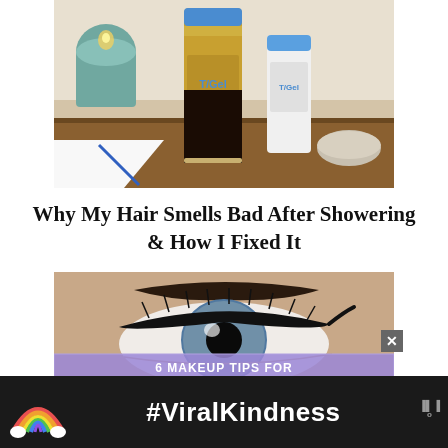[Figure (photo): Photo of T/Gel shampoo bottles (one large amber/dark bottle and one small white bottle with blue caps) on a wooden surface with a teal candle and a white plate in the background]
Why My Hair Smells Bad After Showering & How I Fixed It
[Figure (photo): Close-up photo of a person's eye with blue-gray iris, dramatic eyeliner, and dark eyebrow. A purple banner at the bottom partially shows text '6 MAKEUP TIPS FOR']
[Figure (infographic): Dark advertisement bar at bottom with a rainbow illustration on the left, bold white text '#ViralKindness' in center, and a Wired logo icon on the right. An X close button appears above the bar.]